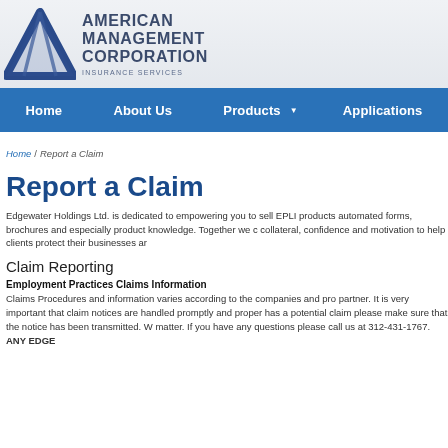[Figure (logo): American Management Corporation Insurance Services logo with blue triangle graphic and company name text]
Home  About Us  Products  Applications
Home / Report a Claim
Report a Claim
Edgewater Holdings Ltd. is dedicated to empowering you to sell EPLI products automated forms, brochures and especially product knowledge. Together we c collateral, confidence and motivation to help clients protect their businesses ar
Claim Reporting
Employment Practices Claims Information
Claims Procedures and information varies according to the companies and pro partner. It is very important that claim notices are handled promptly and proper has a potential claim please make sure that the notice has been transmitted. W matter. If you have any questions please call us at 312-431-1767. ANY EDGE